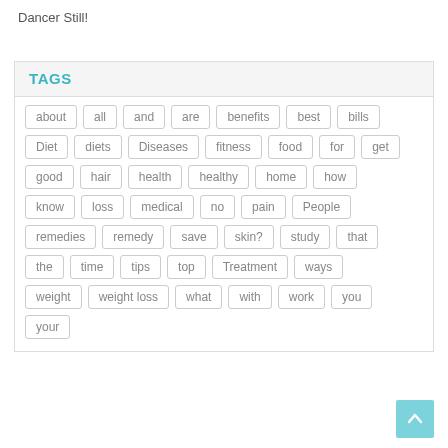Dancer Still!
TAGS
about
all
and
are
benefits
best
bills
Diet
diets
Diseases
fitness
food
for
get
good
hair
health
healthy
home
how
know
loss
medical
no
pain
People
remedies
remedy
save
skin?
study
that
the
time
tips
top
Treatment
ways
weight
weight loss
what
with
work
you
your